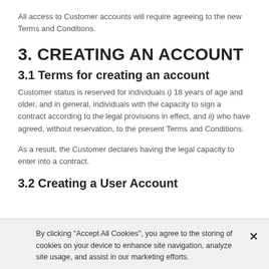All access to Customer accounts will require agreeing to the new Terms and Conditions.
3. CREATING AN ACCOUNT
3.1 Terms for creating an account
Customer status is reserved for individuals i) 18 years of age and older, and in general, individuals with the capacity to sign a contract according to the legal provisions in effect, and ii) who have agreed, without reservation, to the present Terms and Conditions.
As a result, the Customer declares having the legal capacity to enter into a contract.
3.2 Creating a User Account
By clicking “Accept All Cookies”, you agree to the storing of cookies on your device to enhance site navigation, analyze site usage, and assist in our marketing efforts.